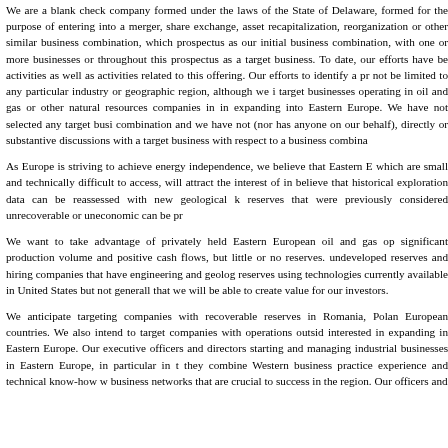We are a blank check company formed under the laws of the State of Delaware, formed for the purpose of entering into a merger, share exchange, asset recapitalization, reorganization or other similar business combination, which prospectus as our initial business combination, with one or more businesses or throughout this prospectus as a target business. To date, our efforts have be activities as well as activities related to this offering. Our efforts to identify a pr not be limited to any particular industry or geographic region, although we i target businesses operating in oil and gas or other natural resources companies in in expanding into Eastern Europe. We have not selected any target busi combination and we have not (nor has anyone on our behalf), directly or substantive discussions with a target business with respect to a business combina
As Europe is striving to achieve energy independence, we believe that Eastern E which are small and technically difficult to access, will attract the interest of in believe that historical exploration data can be reassessed with new geological k reserves that were previously considered unrecoverable or uneconomic can be pr
We want to take advantage of privately held Eastern European oil and gas op significant production volume and positive cash flows, but little or no reserves. undeveloped reserves and hiring companies that have engineering and geolog reserves using technologies currently available in United States but not generall that we will be able to create value for our investors.
We anticipate targeting companies with recoverable reserves in Romania, Polan European countries. We also intend to target companies with operations outsid interested in expanding in Eastern Europe. Our executive officers and directors starting and managing industrial businesses in Eastern Europe, in particular in t they combine Western business practice experience and technical know-how w business networks that are crucial to success in the region. Our officers and